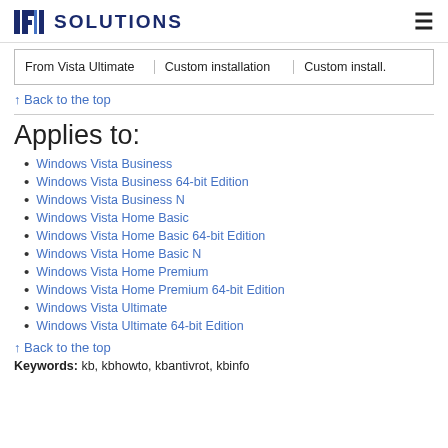PKI SOLUTIONS
| From Vista Ultimate | Custom installation | Custom install. |
| --- | --- | --- |
↑ Back to the top
Applies to:
Windows Vista Business
Windows Vista Business 64-bit Edition
Windows Vista Business N
Windows Vista Home Basic
Windows Vista Home Basic 64-bit Edition
Windows Vista Home Basic N
Windows Vista Home Premium
Windows Vista Home Premium 64-bit Edition
Windows Vista Ultimate
Windows Vista Ultimate 64-bit Edition
↑ Back to the top
Keywords: kb, kbhowto, kbantivrot, kbinfo